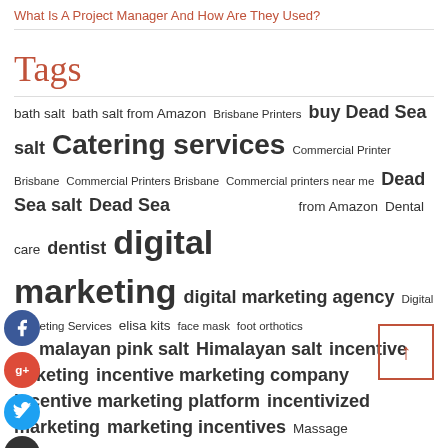What Is A Project Manager And How Are They Used?
Tags
bath salt bath salt from Amazon Brisbane Printers buy Dead Sea salt Catering services Commercial Printer Brisbane Commercial Printers Brisbane Commercial printers near me Dead Sea salt Dead Sea from Amazon Dental care dentist digital marketing digital marketing agency Digital Marketing Services elisa kits face mask foot orthotics himalayan pink salt Himalayan salt incentive marketing incentive marketing company incentive marketing platform incentivized marketing marketing incentives Massage